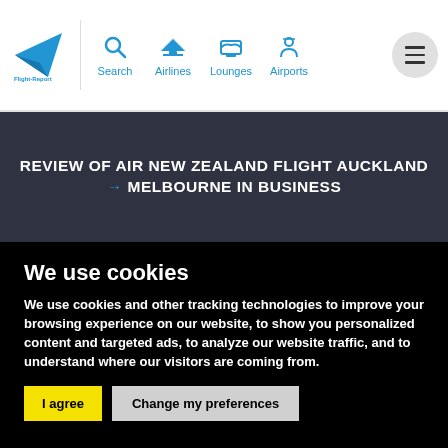Flight Report navigation bar with logo, Search, Airlines, Lounges, Airports icons and hamburger menu
REVIEW OF AIR NEW ZEALAND FLIGHT AUCKLAND → MELBOURNE IN BUSINESS
We use cookies
We use cookies and other tracking technologies to improve your browsing experience on our website, to show you personalized content and targeted ads, to analyze our website traffic, and to understand where our visitors are coming from.
I agree | Change my preferences